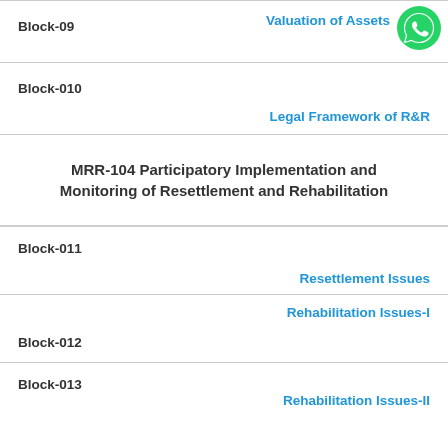Block-09
Valuation of Assets
[Figure (logo): WhatsApp green phone icon]
Block-010
Legal Framework of R&R
MRR-104 Participatory Implementation and Monitoring of Resettlement and Rehabilitation
Block-011
Resettlement Issues
Rehabilitation Issues-I
Block-012
Block-013
Rehabilitation Issues-II